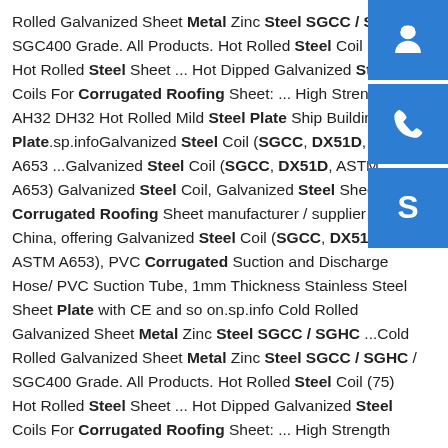Rolled Galvanized Sheet Metal Zinc Steel SGCC / SGHC / SGC400 Grade. All Products. Hot Rolled Steel Coil (75) Hot Rolled Steel Sheet ... Hot Dipped Galvanized Steel Coils For Corrugated Roofing Sheet: ... High Strength AH32 DH32 Hot Rolled Mild Steel Plate Ship Building Plate.sp.infoGalvanized Steel Coil (SGCC, DX51D, ASTM A653 ...Galvanized Steel Coil (SGCC, DX51D, ASTM A653) Galvanized Steel Coil, Galvanized Steel Sheet Corrugated Roofing Sheet manufacturer / supplier in China, offering Galvanized Steel Coil (SGCC, DX51D, ASTM A653), PVC Corrugated Suction and Discharge Hose/ PVC Suction Tube, 1mm Thickness Stainless Steel Sheet Plate with CE and so on.sp.info Cold Rolled Galvanized Sheet Metal Zinc Steel SGCC / SGHC ...Cold Rolled Galvanized Sheet Metal Zinc Steel SGCC / SGHC / SGC400 Grade. All Products. Hot Rolled Steel Coil (75) Hot Rolled Steel Sheet ... Hot Dipped Galvanized Steel Coils For Corrugated Roofing Sheet: ... High Strength AH32 DH32 Hot Rolled Mild Steel Plate Ship Building
[Figure (infographic): Three blue square buttons on the right side: headset/customer service icon, phone icon, Skype icon]